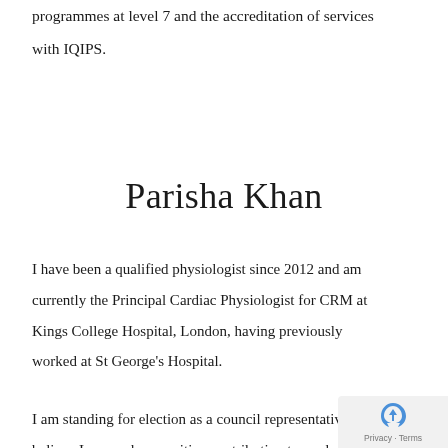programmes at level 7 and the accreditation of services with IQIPS.
Parisha Khan
I have been a qualified physiologist since 2012 and am currently the Principal Cardiac Physiologist for CRM at Kings College Hospital, London, having previously worked at St George's Hospital.
I am standing for election as a council representative as I believe I can make a positive contribution towards